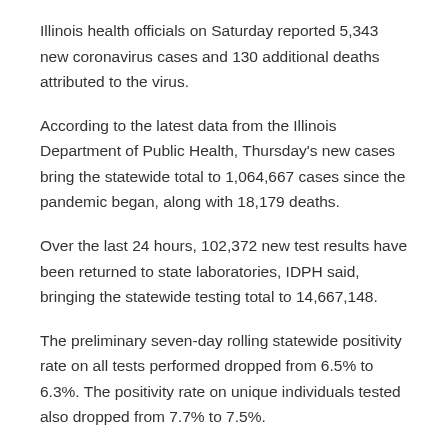Illinois health officials on Saturday reported 5,343 new coronavirus cases and 130 additional deaths attributed to the virus.
According to the latest data from the Illinois Department of Public Health, Thursday's new cases bring the statewide total to 1,064,667 cases since the pandemic began, along with 18,179 deaths.
Over the last 24 hours, 102,372 new test results have been returned to state laboratories, IDPH said, bringing the statewide testing total to 14,667,148.
The preliminary seven-day rolling statewide positivity rate on all tests performed dropped from 6.5% to 6.3%. The positivity rate on unique individuals tested also dropped from 7.7% to 7.5%.